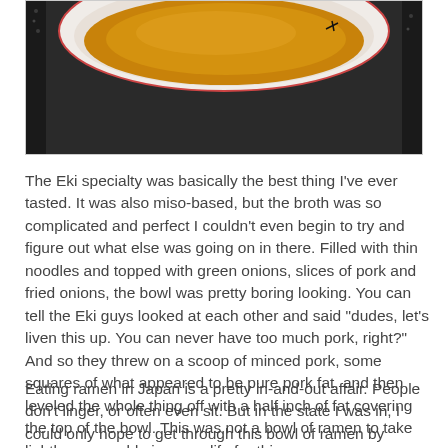[Figure (photo): Top portion of a bowl of ramen with orange/amber colored broth visible, on a dark background, cropped at the top of the page.]
The Eki specialty was basically the best thing I've ever tasted. It was also miso-based, but the broth was so complicated and perfect I couldn't even begin to try and figure out what else was going on in there. Filled with thin noodles and topped with green onions, slices of pork and fried onions, the bowl was pretty boring looking. You can tell the Eki guys looked at each other and said "dudes, let's liven this up. You can never have too much pork, right?" And so they threw on a scoop of minced pork, some squares of what appeared to be pure pork fat, and then leveled the whole thing off with a half inch of fat covering the top of the bowl. This was not a bowl of ramen to take lightly, you could give your life for this.
Eating ramen in Japan is a pretty in-and-out affair. People don't linger, or often even sit. But in the state I was in, I could only hope to get through this bowl of ramen by dragging it